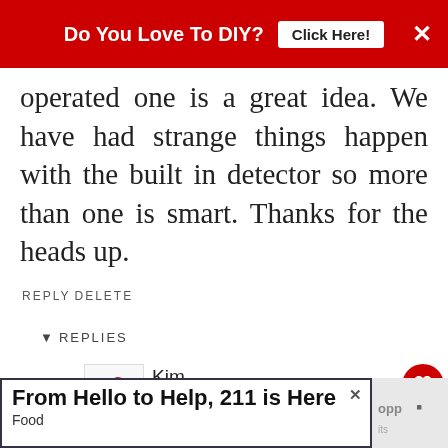[Figure (screenshot): Red top ad banner reading 'Do You Love To DIY?' with 'Click Here!' button and X close button]
operated one is a great idea. We have had strange things happen with the built in detector so more than one is smart. Thanks for the heads up.
REPLY DELETE
▼ REPLIES
[Figure (photo): Small avatar/logo image with red flower/cherry illustration]
Kim
APRIL 11, 2018 AT 11:17 AM
It was so unexpected and out of the realm of w... thought was possible, we were ready to write it off. I
[Figure (photo): What's Next panel with small flower photo, label 'WHAT'S NEXT' and text 'My Thrift Store Stinks']
[Figure (screenshot): Bottom advertisement banner: 'From Hello to Help, 211 is Here' with 'Food' subtext and close X button]